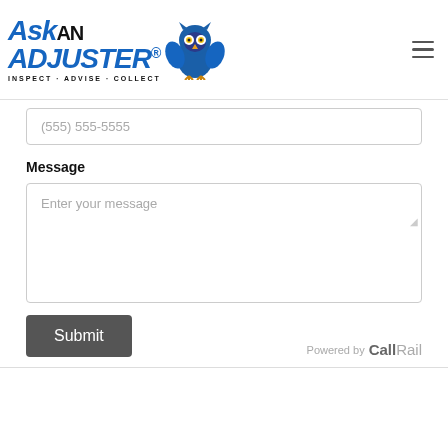[Figure (logo): Ask An Adjuster logo with blue owl mascot and tagline INSPECT · ADVISE · COLLECT]
(555) 555-5555
Message
Enter your message
Submit
Powered by CallRail